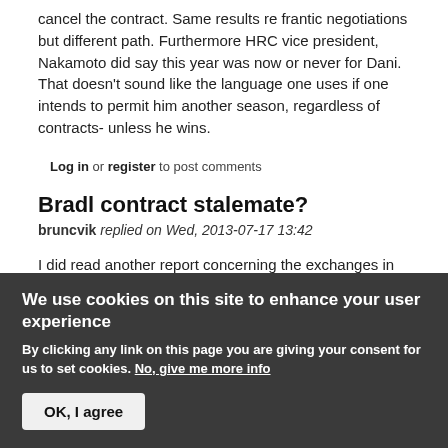cancel the contract. Same results re frantic negotiations but different path. Furthermore HRC vice president, Nakamoto did say this year was now or never for Dani. That doesn't sound like the language one uses if one intends to permit him another season, regardless of contracts- unless he wins.
Log in or register to post comments
Bradl contract stalemate?
bruncvik replied on Wed, 2013-07-17 13:42
I did read another report concerning the exchanges in the LCR truck, which is that Bradl is not happy with the
We use cookies on this site to enhance your user experience
By clicking any link on this page you are giving your consent for us to set cookies. No, give me more info
OK, I agree